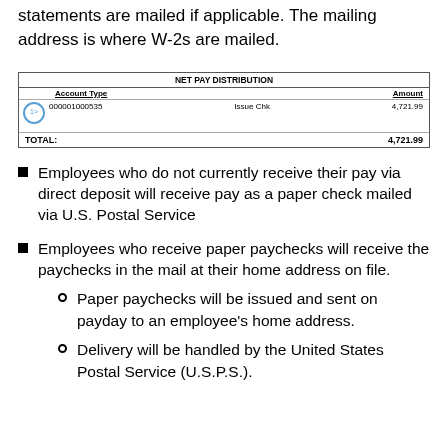statements are mailed if applicable. The mailing address is where W-2s are mailed.
[Figure (table-as-image): NET PAY DISTRIBUTION table showing account number 000001000535, Account Type: Issue Chk, Amount: 4,721.99, TOTAL: 4,721.99]
Employees who do not currently receive their pay via direct deposit will receive pay as a paper check mailed via U.S. Postal Service
Employees who receive paper paychecks will receive the paychecks in the mail at their home address on file.
Paper paychecks will be issued and sent on payday to an employee's home address.
Delivery will be handled by the United States Postal Service (U.S.P.S.).